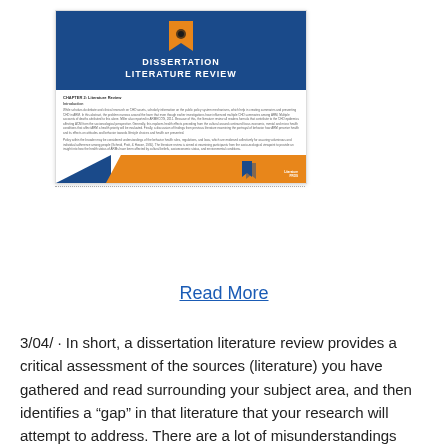[Figure (illustration): Preview image of a dissertation literature review document with a blue header reading 'DISSERTATION LITERATURE REVIEW', an orange bookmark icon at the top, body text showing Chapter 2: Literature Review with Introduction section, and an orange/blue diagonal footer.]
Read More
3/04/ · In short, a dissertation literature review provides a critical assessment of the sources (literature) you have gathered and read surrounding your subject area, and then identifies a "gap" in that literature that your research will attempt to address. There are a lot of misunderstandings about what a dissertation literature review entails. Definitely recommend this company for